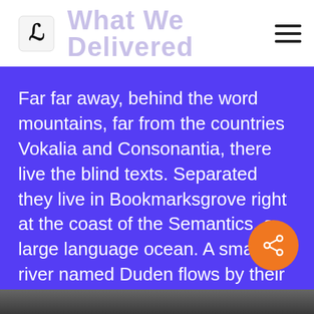What We Delivered
Far far away, behind the word mountains, far from the countries Vokalia and Consonantia, there live the blind texts. Separated they live in Bookmarksgrove right at the coast of the Semantics, a large language ocean. A small river named Duden flows by their place and supplies
[Figure (photo): Bottom photo strip showing a person, partially visible, dark/muted tones]